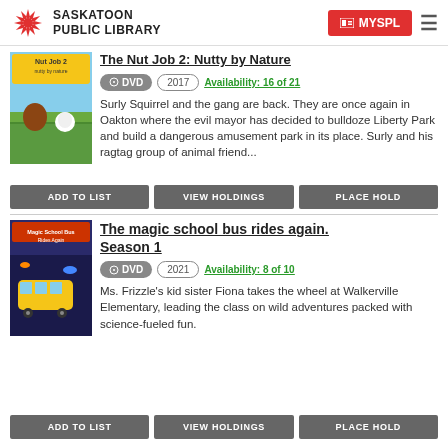Saskatoon Public Library — MYSPL
The Nut Job 2: Nutty by Nature
DVD  2017  Availability: 16 of 21
Surly Squirrel and the gang are back. They are once again in Oakton where the evil mayor has decided to bulldoze Liberty Park and build a dangerous amusement park in its place. Surly and his ragtag group of animal friend...
ADD TO LIST  VIEW HOLDINGS  PLACE HOLD
The magic school bus rides again. Season 1
DVD  2021  Availability: 8 of 10
Ms. Frizzle's kid sister Fiona takes the wheel at Walkerville Elementary, leading the class on wild adventures packed with science-fueled fun.
ADD TO LIST  VIEW HOLDINGS  PLACE HOLD